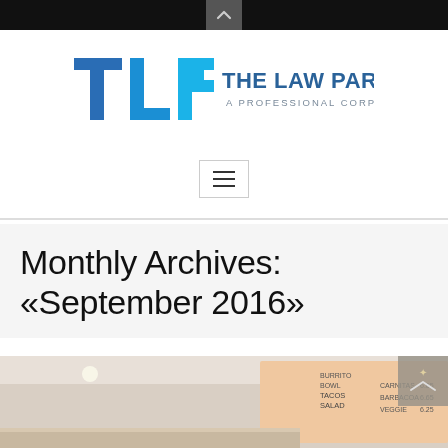[Figure (logo): TLP The Law Partners – A Professional Corporation logo with blue stylized TLP letters]
[Figure (other): Hamburger menu button icon (three horizontal lines)]
Monthly Archives: «September 2016»
[Figure (photo): Interior photo of a fast food restaurant counter with a backlit menu board showing items including Burrito, Bowl, Tacos, Salad and prices including Carnitas 6.65, Barbacoa 6.65, Veggie 6.25]